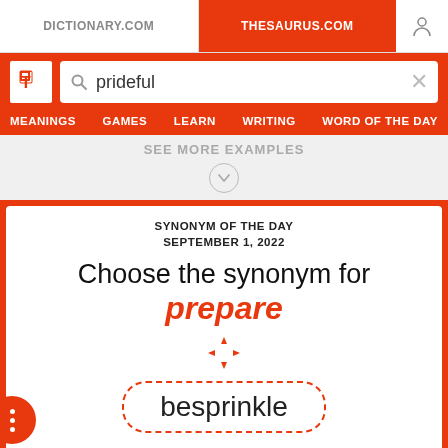DICTIONARY.COM | THESAURUS.COM
prideful
MEANINGS  GAMES  LEARN  WRITING  WORD OF THE DAY
SEE MORE EXAMPLES
SYNONYM OF THE DAY
SEPTEMBER 1, 2022
Choose the synonym for prepare
besprinkle